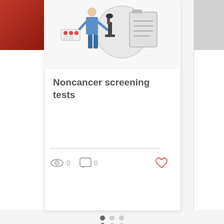[Figure (illustration): Illustration of a medical professional figure with lab equipment (microscope, clipboard, pills) on a light background]
Noncancer screening tests
0 views, 0 comments, like button